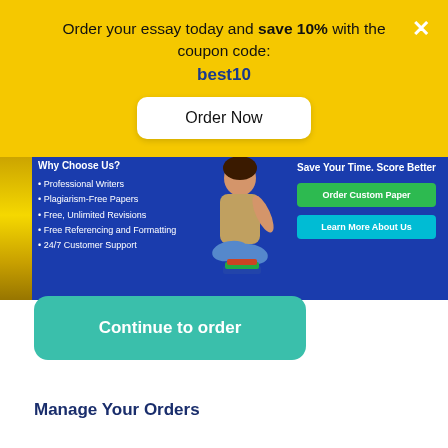Order your essay today and save 10% with the coupon code: best10
Order Now
[Figure (infographic): Blue advertisement banner for essay writing service with Why Choose Us bullet points, girl sitting with books illustration, Save Your Time. Score Better tagline, Order Custom Paper and Learn More About Us buttons]
Continue to order
Manage Your Orders